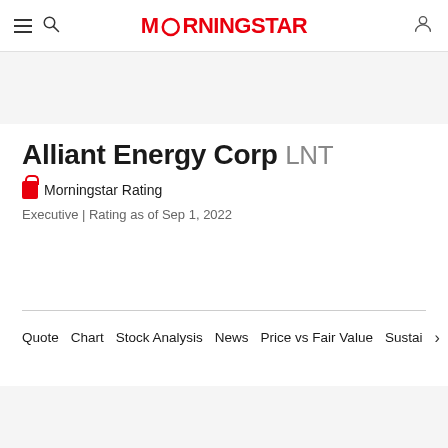Morningstar navigation bar with hamburger menu, search icon, Morningstar logo, and user account icon
Alliant Energy Corp LNT
Morningstar Rating
Executive | Rating as of Sep 1, 2022
Quote  Chart  Stock Analysis  News  Price vs Fair Value  Sustai  >